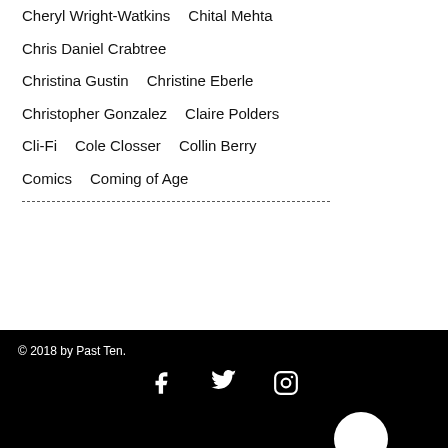Cheryl Wright-Watkins   Chital Mehta
Chris Daniel Crabtree
Christina Gustin   Christine Eberle
Christopher Gonzalez   Claire Polders
Cli-Fi   Cole Closser   Collin Berry
Comics   Coming of Age
© 2018 by Past Ten.